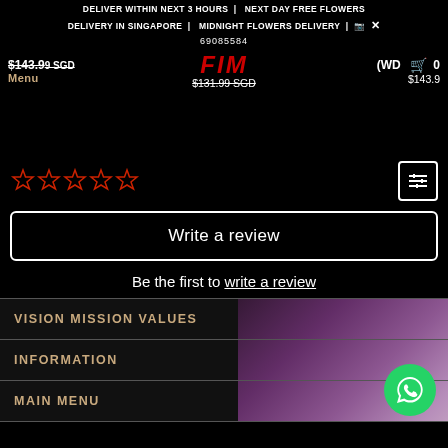DELIVER WITHIN NEXT 3 HOURS | NEXT DAY FREE FLOWERS DELIVERY IN SINGAPORE | MIDNIGHT FLOWERS DELIVERY | 📷 ×
69085584
$143.99 SGD  Menu  FIM  $131.99 SGD  (WD  $143.9  🛒 0
[Figure (other): Five empty red star rating icons]
Write a review
Be the first to write a review
VISION MISSION VALUES
INFORMATION
MAIN MENU